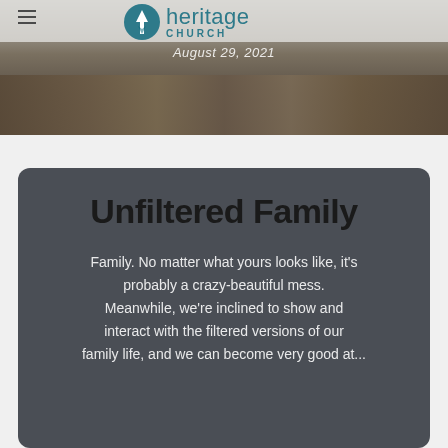[Figure (screenshot): Heritage Church website header with logo showing teal circle with white upward arrow, 'heritage CHURCH' text in teal, date 'August 29, 2021' in italic white, and a beach/shells background image below]
Unfiltered Family
Family. No matter what yours looks like, it's probably a crazy-beautiful mess. Meanwhile, we're inclined to show and interact with the filtered versions of our family life, and we can become very good at...